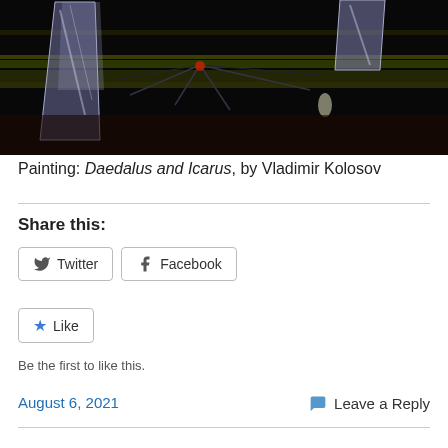[Figure (illustration): Painting of Daedalus and Icarus by Vladimir Kolosov — dark background with glowing crystalline/geometric shapes and lines suggesting flight or a mythological scene]
Painting: Daedalus and Icarus, by Vladimir Kolosov
Share this:
Twitter  Facebook
Like
Be the first to like this.
August 6, 2021
Leave a Reply